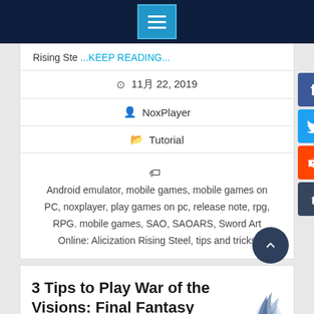Navigation menu bar
Rising Ste ...KEEP READING...
11月 22, 2019
NoxPlayer
Tutorial
Android emulator, mobile games, mobile games on PC, noxplayer, play games on pc, release note, rpg, RPG. mobile games, SAO, SAOARS, Sword Art Online: Alicization Rising Steel, tips and tricks
3 Tips to Play War of the Visions: Final Fantasy